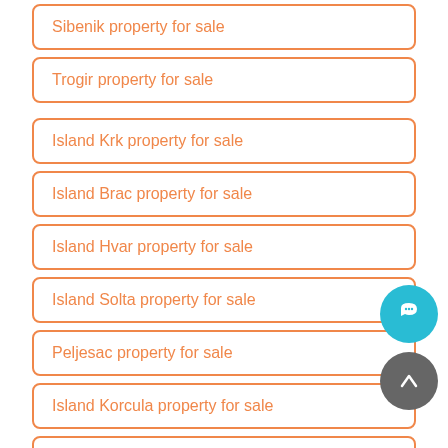Sibenik property for sale
Trogir property for sale
Island Krk property for sale
Island Brac property for sale
Island Hvar property for sale
Island Solta property for sale
Peljesac property for sale
Island Korcula property for sale
Omis property for sale
Makarska property for sale